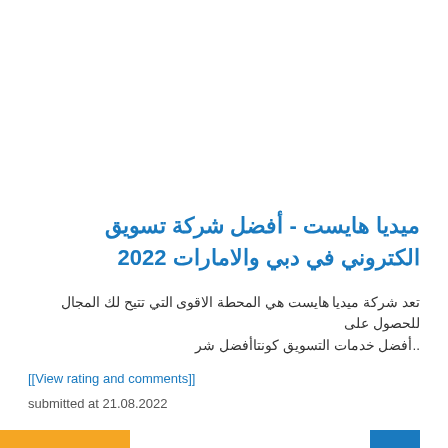ميديا هايست - أفضل شركة تسويق الكتروني في دبي والامارات 2022
تعد شركة ميديا هايست هي المحطة الاقوى التي تتيح لك المجال للحصول على أفضل خدمات التسويق كونتاأفضل شر..
[[View rating and comments]]
submitted at 21.08.2022